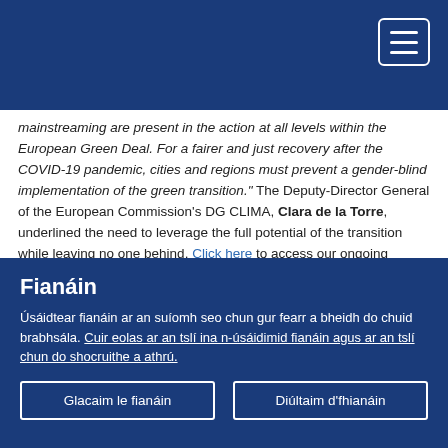mainstreaming are present in the action at all levels within the European Green Deal. For a fairer and just recovery after the COVID-19 pandemic, cities and regions must prevent a gender-blind implementation of the green transition." The Deputy-Director General of the European Commission's DG CLIMA, Clara de la Torre, underlined the need to leverage the full potential of the transition while leaving no one behind. Click here to access our ongoing survey on gender and climate.
Members of the ENVE commission appointed Marieke Schouten (NL/Greens) as the rapporteur of the opinion 'EU Action Plan Towards Zero Pollution for Air, Water and Soil...
Fianáin
Úsáidtear fianáin ar an suíomh seo chun gur fearr a bheidh do chuid brabhsála. Cuir eolas ar an tslí ina n-úsáidimid fianáin agus ar an tslí chun do shocruithe a athrú.
Glacaim le fianáin
Diúltaim d'fhianáin